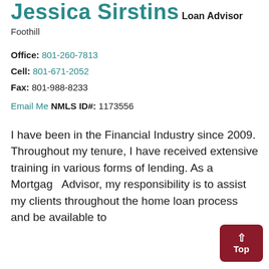Jessica Sirstins
Loan Advisor
Foothill
Office: 801-260-7813
Cell: 801-671-2052
Fax: 801-988-8233
Email Me
NMLS ID#: 1173556
I have been in the Financial Industry since 2009. Throughout my tenure, I have received extensive training in various forms of lending. As a Mortgage Advisor, my responsibility is to assist my clients throughout the home loan process and be available to